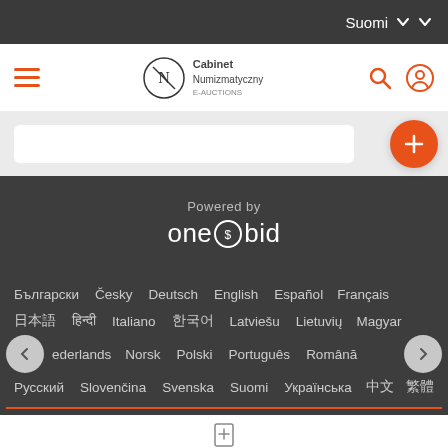Suomi
[Figure (logo): Cabinet Numizmatyczny logo with hamburger menu, search and user icons in navigation bar]
[Figure (screenshot): Search input area with orange plus button]
[Figure (logo): Powered by onebid logo]
Български Česky Deutsch English Español Français ＊＊＊ हिन्दी Italiano ＊＊＊ Latviešu Lietuvių Magyar Nederlands Norsk Polski Português Română Русский Slovenčina Svenska Suomi Українська ＊＊ ＊＊
Muistiinpanot